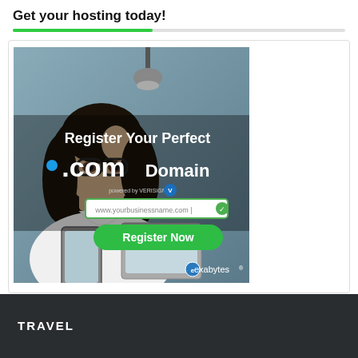Get your hosting today!
[Figure (illustration): Exabytes hosting advertisement showing a woman with glasses holding a phone, with text 'Register Your Perfect .com Domain powered by VERISIGN', a URL input field showing 'www.yourbusinessname.com', a green 'Register Now' button, and the Exabytes logo at the bottom.]
TRAVEL